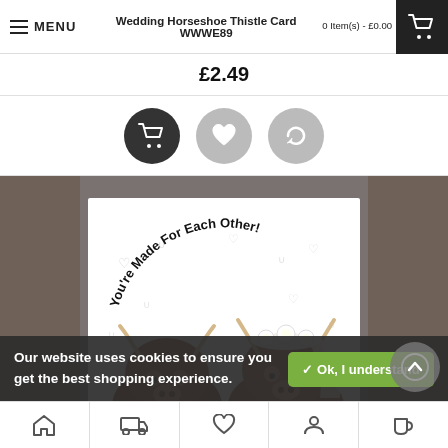MENU  Wedding Horseshoe Thistle Card WWWE89  0 Item(s) - £0.00
£2.49
[Figure (screenshot): Three circular action buttons: dark cart button, grey heart/wishlist button, grey refresh button]
[Figure (photo): Product card image showing two illustrated Highland cows dressed as bride and groom, with text 'You're Made For Each Other!' arched across the top of the card, with hearts and horseshoes in background]
Our website uses cookies to ensure you get the best shopping experience.
✓ Ok, I understand
Home | Delivery | Wishlist | Account | Coffee/Shop